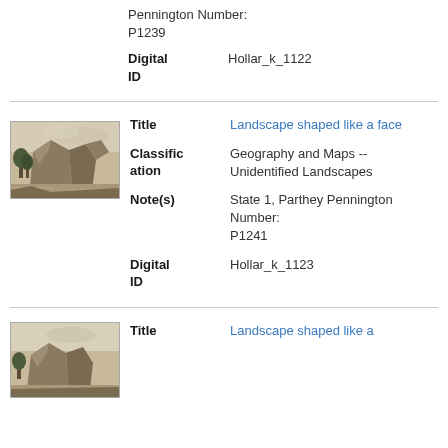Pennington Number: P1239
Digital ID   Hollar_k_1122
[Figure (illustration): Small sepia-toned etching of a landscape with rocky cliffs, trees, and water]
Title   Landscape shaped like a face
Classification   Geography and Maps -- Unidentified Landscapes
Note(s)   State 1, Parthey Pennington Number: P1241
Digital ID   Hollar_k_1123
[Figure (illustration): Small sepia-toned landscape etching, partially visible at bottom]
Title   Landscape shaped like a